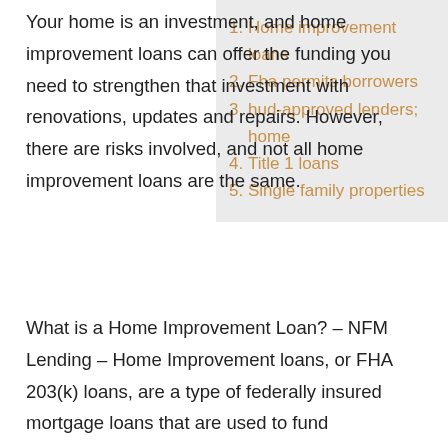Your home is an investment, and home improvement loans can offer the funding you need to strengthen that investment with renovations, updates and repairs. However, there are risks involved, and not all home improvement loans are the same.
Home improvement loans
Fha permits borrowers
hud-approved lenders; home
Title 1 loans
Single family properties
What is a Home Improvement Loan? – NFM Lending – Home Improvement loans, or FHA 203(k) loans, are a type of federally insured mortgage loans that are used to fund renovations and repairs.
Credit Score For 203K Loan FHA 203k Loans: What You Need to Know | Equity Prime Mortgage – While the fha permits borrowers with credit scores as low as 580 to apply for 203k loans, different lenders have different credit score requirements. Many lenders will